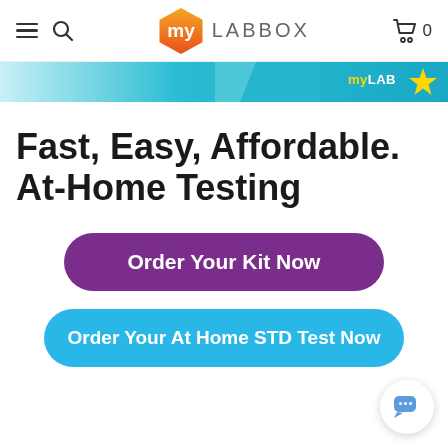myLABBOX navigation header with hamburger menu, search, logo, and cart (0 items)
[Figure (screenshot): Partial banner image of myLABBOX promotional strip in teal/cyan color with myLAB branding text and star icon]
Fast, Easy, Affordable. At-Home Testing
Order Your Kit Now
Order Your At Home STD Test Now
[Figure (other): Chat support bubble icon in bottom right corner]